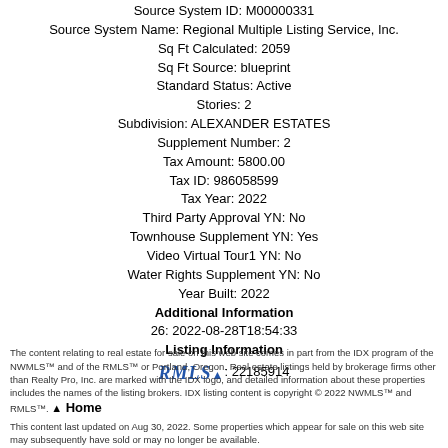Source System ID: M00000331
Source System Name: Regional Multiple Listing Service, Inc.
Sq Ft Calculated: 2059
Sq Ft Source: blueprint
Standard Status: Active
Stories: 2
Subdivision: ALEXANDER ESTATES
Supplement Number: 2
Tax Amount: 5800.00
Tax ID: 986058599
Tax Year: 2022
Third Party Approval YN: No
Townhouse Supplement YN: Yes
Video Virtual Tour1 YN: No
Water Rights Supplement YN: No
Year Built: 2022
Additional Information
26: 2022-08-28T18:54:33
Listing Information
RMLS: 22185914
The content relating to real estate for sale on this web site comes in part from the IDX program of the NWMLS™ and of the RMLS™ or Portland, Oregon. Real estate listings held by brokerage firms other than Realty Pro, Inc. are marked with the IDX logo, and detailed information about these properties includes the names of the listing brokers. IDX listing content is copyright © 2022 NWMLS™ and RMLS™.
This content last updated on Aug 30, 2022. Some properties which appear for sale on this web site may subsequently have sold or may no longer be available.